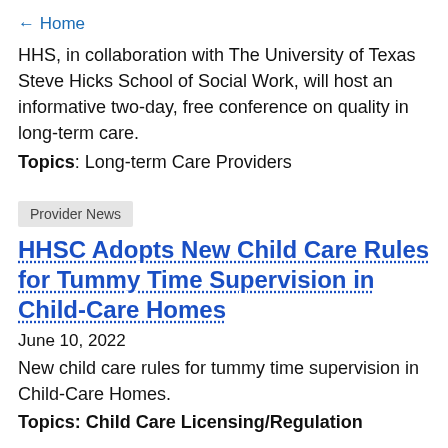← Home
HHS, in collaboration with The University of Texas Steve Hicks School of Social Work, will host an informative two-day, free conference on quality in long-term care.
Topics: Long-term Care Providers
Provider News
HHSC Adopts New Child Care Rules for Tummy Time Supervision in Child-Care Homes
June 10, 2022
New child care rules for tummy time supervision in Child-Care Homes.
Topics: Child Care Licensing/Regulation